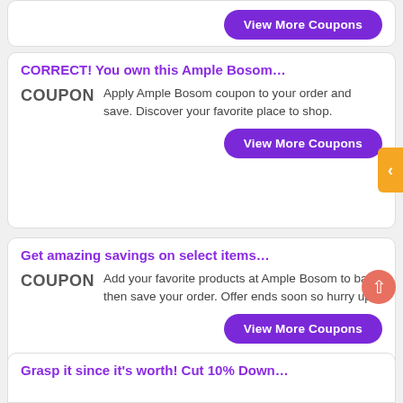View More Coupons (top partial card button)
CORRECT! You own this Ample Bosom…
Apply Ample Bosom coupon to your order and save. Discover your favorite place to shop.
View More Coupons
Get amazing savings on select items…
Add your favorite products at Ample Bosom to bag then save your order. Offer ends soon so hurry up!
View More Coupons
Grasp it since it's worth! Cut 10% Down…